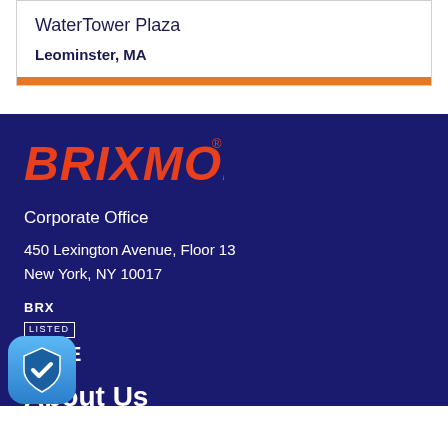WaterTower Plaza
Leominster, MA
[Figure (logo): Brixmor logo in red italic bold text with registered trademark symbol]
Corporate Office
450 Lexington Avenue, Floor 13
New York, NY 10017
BRX
LISTED
NYSE
About Us
nor owns and operates nearly 380 retail centers across